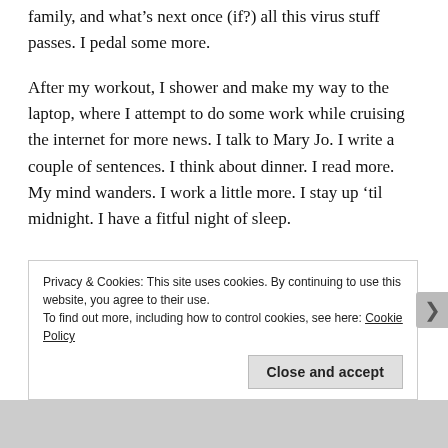family, and what's next once (if?) all this virus stuff passes. I pedal some more.
After my workout, I shower and make my way to the laptop, where I attempt to do some work while cruising the internet for more news. I talk to Mary Jo. I write a couple of sentences. I think about dinner. I read more. My mind wanders. I work a little more. I stay up 'til midnight. I have a fitful night of sleep.
Privacy & Cookies: This site uses cookies. By continuing to use this website, you agree to their use.
To find out more, including how to control cookies, see here: Cookie Policy
Close and accept